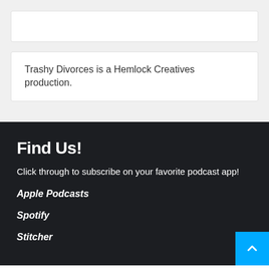Trashy Divorces is a Hemlock Creatives production.
Find Us!
Click through to subscribe on your favorite podcast app!
Apple Podcasts
Spotify
Stitcher